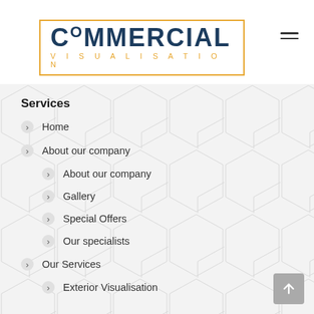[Figure (logo): Commercial Visualisation company logo with dark blue COMMERCIAL text and gold VISUALISATION text, enclosed in a gold rectangle border]
Services
Home
About our company
About our company
Gallery
Special Offers
Our specialists
Our Services
Exterior Visualisation